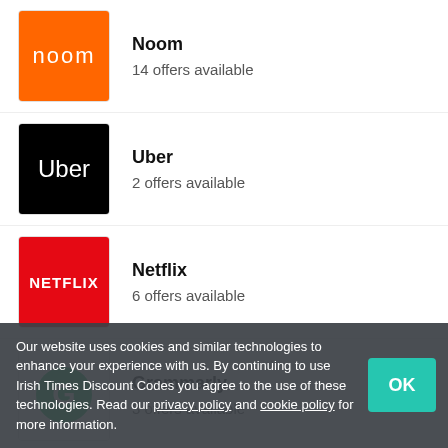Noom — 14 offers available
Uber — 2 offers available
Netflix — 6 offers available
Grammarly — 3 offers available
Bitdefender — (partially visible)
Our website uses cookies and similar technologies to enhance your experience with us. By continuing to use Irish Times Discount Codes you agree to the use of these technologies. Read our privacy policy and cookie policy for more information.